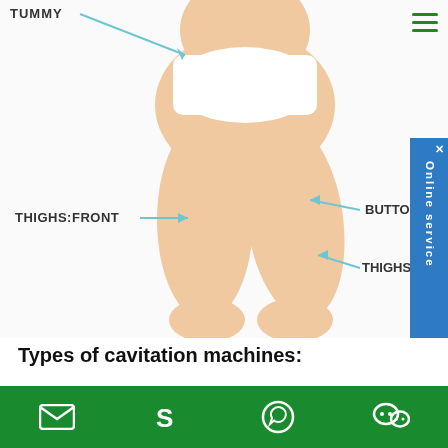[Figure (illustration): Body diagram showing a woman's lower torso and legs with labeled arrows pointing to body areas: TUMMY (top, with right-pointing arrow), THIGHS:FRONT (left side with right-pointing arrow), BUTTOCKS (right side with left-pointing arrow), THIGHS:BACK (right side with left-pointing arrow). Blue/teal arrows on a white photographic background.]
Types of cavitation machines:
Cavitation machines are a popular beauty treatment that is used to reduce the appearance of cellulite and to contour the body. Fat burning cavitation machine comes in all shapes and sizes. From small handheld devices to large machines that cover an entire body, they all have one common goal, to reduce fat cells. But how do these machines work, and which one is
Email | Skype | WhatsApp | WeChat